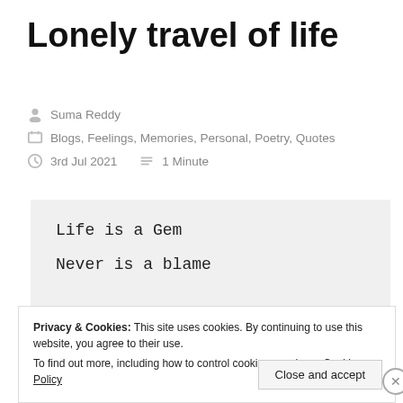Lonely travel of life
Suma Reddy
Blogs, Feelings, Memories, Personal, Poetry, Quotes
3rd Jul 2021   1 Minute
Life is a Gem

Never is a blame
Privacy & Cookies: This site uses cookies. By continuing to use this website, you agree to their use.
To find out more, including how to control cookies, see here: Cookie Policy
Close and accept
Advertisements